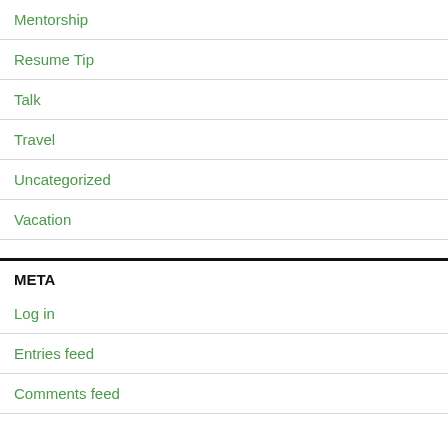Mentorship
Resume Tip
Talk
Travel
Uncategorized
Vacation
META
Log in
Entries feed
Comments feed